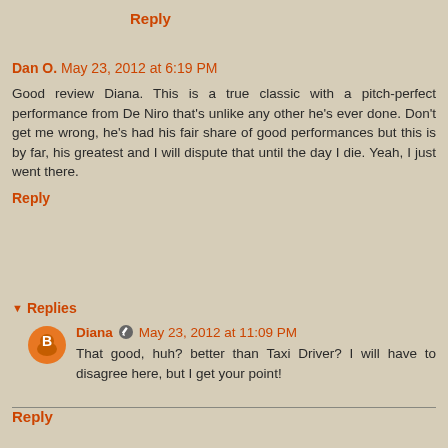Reply
Dan O.  May 23, 2012 at 6:19 PM
Good review Diana. This is a true classic with a pitch-perfect performance from De Niro that's unlike any other he's ever done. Don't get me wrong, he's had his fair share of good performances but this is by far, his greatest and I will dispute that until the day I die. Yeah, I just went there.
Reply
Replies
Diana  May 23, 2012 at 11:09 PM
That good, huh? better than Taxi Driver? I will have to disagree here, but I get your point!
Reply